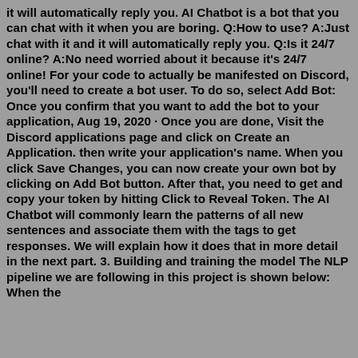it will automatically reply you. AI Chatbot is a bot that you can chat with it when you are boring. Q:How to use? A:Just chat with it and it will automatically reply you. Q:Is it 24/7 online? A:No need worried about it because it's 24/7 online! For your code to actually be manifested on Discord, you'll need to create a bot user. To do so, select Add Bot: Once you confirm that you want to add the bot to your application, Aug 19, 2020 · Once you are done, Visit the Discord applications page and click on Create an Application. then write your application's name. When you click Save Changes, you can now create your own bot by clicking on Add Bot button. After that, you need to get and copy your token by hitting Click to Reveal Token. The AI Chatbot will commonly learn the patterns of all new sentences and associate them with the tags to get responses. We will explain how it does that in more detail in the next part. 3. Building and training the model The NLP pipeline we are following in this project is shown below: When the